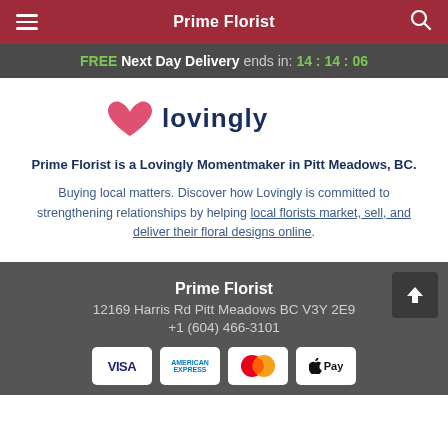Prime Florist
FREE Next Day Delivery ends in: 14:14:06
[Figure (logo): Lovingly logo with pink heart and dark blue text]
Prime Florist is a Lovingly Momentmaker in Pitt Meadows, BC.
Buying local matters. Discover how Lovingly is committed to strengthening relationships by helping local florists market, sell, and deliver their floral designs online.
Prime Florist
12169 Harris Rd Pitt Meadows BC V3Y 2E9
+1 (604) 466-3101